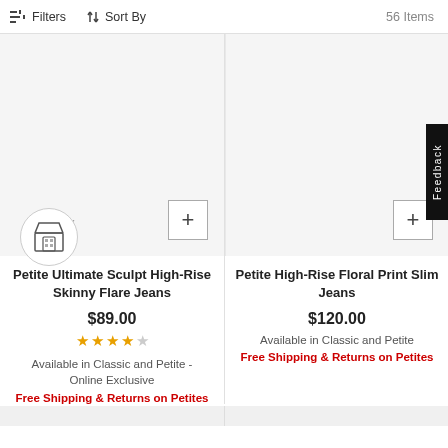Filters  Sort By  56 Items
[Figure (photo): Product image area for Petite Ultimate Sculpt High-Rise Skinny Flare Jeans (blank/white product photo area with plus button)]
Petite Ultimate Sculpt High-Rise Skinny Flare Jeans
$89.00
★★★★☆
Available in Classic and Petite - Online Exclusive
Free Shipping & Returns on Petites
[Figure (photo): Product image area for Petite High-Rise Floral Print Slim Jeans (blank/white product photo area with plus button)]
Petite High-Rise Floral Print Slim Jeans
$120.00
Available in Classic and Petite
Free Shipping & Returns on Petites